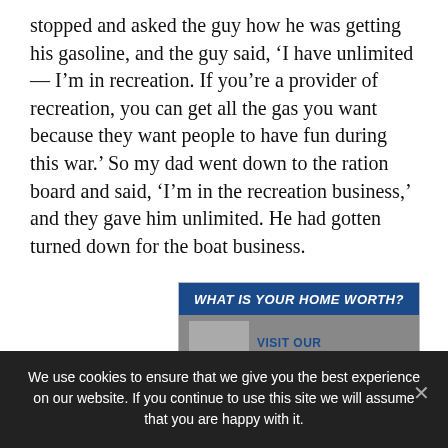stopped and asked the guy how he was getting his gasoline, and the guy said, ‘I have unlimited — I’m in recreation. If you’re a provider of recreation, you can get all the gas you want because they want people to have fun during this war.’ So my dad went down to the ration board and said, ‘I’m in the recreation business,’ and they gave him unlimited. He had gotten turned down for the boat business.
[Figure (screenshot): Advertisement banner: dark blue button reading 'WHAT IS YOUR HOME WORTH?' with a photo of a woman and text 'VISIT OUR']
We use cookies to ensure that we give you the best experience on our website. If you continue to use this site we will assume that you are happy with it.